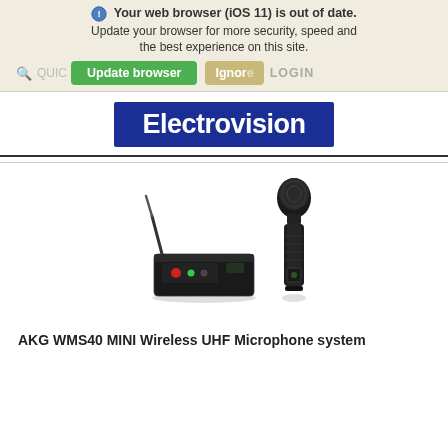Your web browser (iOS 11) is out of date. Update your browser for more security, speed and the best experience on this site.
[Figure (screenshot): Browser update notification banner with 'Update browser' green button and 'Ignore' tan button, overlaid on a navigation bar with search icon, 'QUICK' text, and 'LOGIN' text.]
[Figure (logo): Electrovision logo: white text on dark blue background]
[Figure (photo): AKG WMS40 MINI wireless UHF microphone system product photo: a small black receiver unit with antenna and a handheld dynamic microphone]
AKG WMS40 MINI Wireless UHF Microphone system